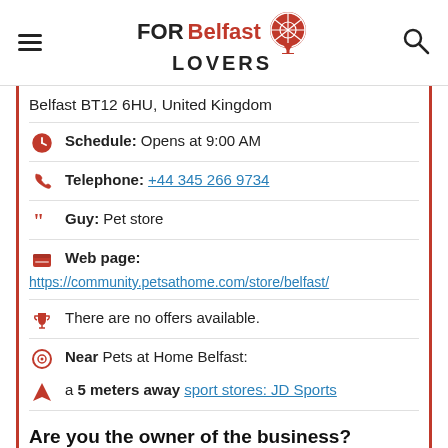FOR Belfast LOVERS
Belfast BT12 6HU, United Kingdom
Schedule: Opens at 9:00 AM
Telephone: +44 345 266 9734
Guy: Pet store
Web page:
https://community.petsathome.com/store/belfast/
There are no offers available.
Near Pets at Home Belfast:
a 5 meters away sport stores: JD Sports
Are you the owner of the business? PROMOTE IT!